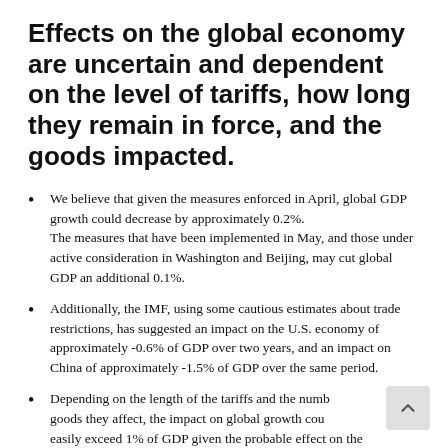Effects on the global economy are uncertain and dependent on the level of tariffs, how long they remain in force, and the goods impacted.
We believe that given the measures enforced in April, global GDP growth could decrease by approximately 0.2%. The measures that have been implemented in May, and those under active consideration in Washington and Beijing, may cut global GDP an additional 0.1%.
Additionally, the IMF, using some cautious estimates about trade restrictions, has suggested an impact on the U.S. economy of approximately -0.6% of GDP over two years, and an impact on China of approximately -1.5% of GDP over the same period.
Depending on the length of the tariffs and the number of goods they affect, the impact on global growth could easily exceed 1% of GDP given the probable effect on the